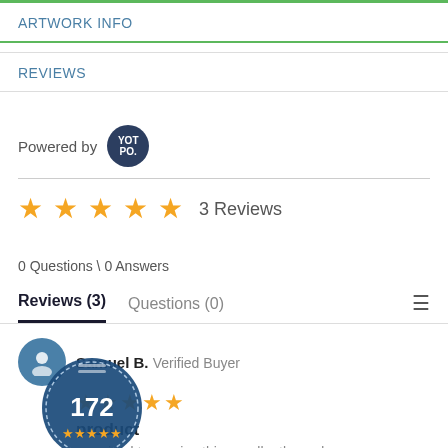ARTWORK INFO
REVIEWS
Powered by YOTPO.
★★★★★  3 Reviews
0 Questions \ 0 Answers
Reviews (3)   Questions (0)
Samuel B.  Verified Buyer
★★★★★
product
surprised to receive this excellently made p...eight for his first (of many hopefully) patent with me.